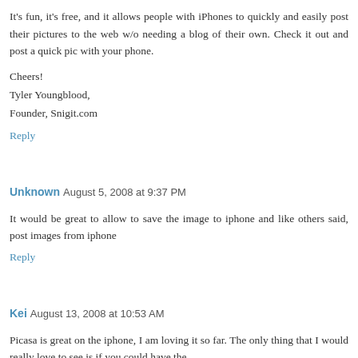It's fun, it's free, and it allows people with iPhones to quickly and easily post their pictures to the web w/o needing a blog of their own. Check it out and post a quick pic with your phone.
Cheers!
Tyler Youngblood,
Founder, Snigit.com
Reply
Unknown August 5, 2008 at 9:37 PM
It would be great to allow to save the image to iphone and like others said, post images from iphone
Reply
Kei August 13, 2008 at 10:53 AM
Picasa is great on the iphone, I am loving it so far. The only thing that I would really love to see is if you could have the